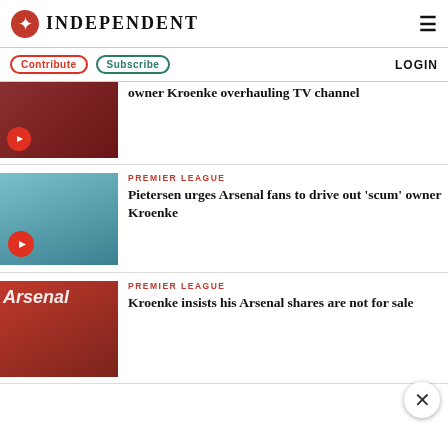INDEPENDENT
Contribute | Subscribe | LOGIN
[Figure (photo): Partially visible article image with play button, top article cropped — Arsenal fans related image]
owner Kroenke overhauling TV channel
[Figure (photo): Kevin Pietersen in teal Arsenal training top with play button overlay]
PREMIER LEAGUE
Pietersen urges Arsenal fans to drive out 'scum' owner Kroenke
[Figure (photo): Man at podium in front of red Arsenal backdrop]
PREMIER LEAGUE
Kroenke insists his Arsenal shares are not for sale